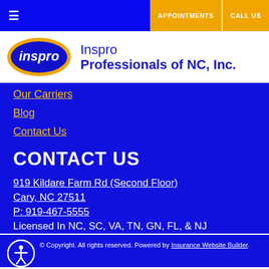≡  APPOINTMENTS  CALL US
[Figure (logo): Inspro logo — blue oval with yellow border containing italic white 'inspro' text, beside company name 'Inspro Professionals of NC, Inc.' in blue text]
Our Carriers
Blog
Contact Us
CONTACT US
919 Kildare Farm Rd (Second Floor)
Cary, NC 27511
P: 919-467-5555
Licensed In NC, SC, VA, TN, GN, FL, & NJ
© Copyright. All rights reserved. Powered by Insurance Website Builder.